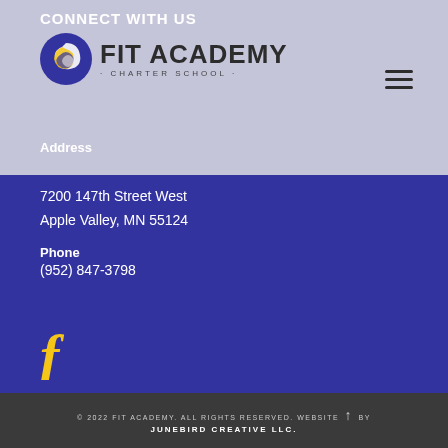CONNECT WITH US
[Figure (logo): Fit Academy Charter School logo with swirl icon and text]
Address
7200 147th Street West
Apple Valley, MN 55124
Phone
(952) 847-3798
[Figure (illustration): Facebook icon in gold/yellow color]
© 2022 FIT ACADEMY. ALL RIGHTS RESERVED. WEBSITE BY JUNEBIRD CREATIVE LLC.